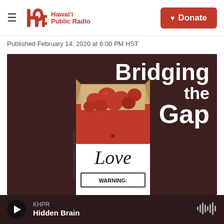Hawai'i Public Radio — Donate
Published February 14, 2020 at 6:00 PM HST
[Figure (illustration): Cigarette box labeled 'Love' with red heart candies inside, on dark brown background with 'Bridging the Gap' text overlay in white]
KHPR — Hidden Brain (audio player bar)